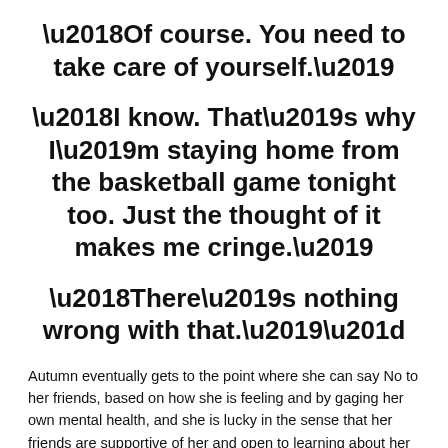‘Of course. You need to take care of yourself.’
‘I know. That’s why I’m staying home from the basketball game tonight too. Just the thought of it makes me cringe.’
‘There’s nothing wrong with that.’”
Autumn eventually gets to the point where she can say No to her friends, based on how she is feeling and by gaging her own mental health, and she is lucky in the sense that her friends are supportive of her and open to learning about her anxiety disorder. Believe me, not everyone in the world is that understanding. Having said that, I personally appreciated that West emphasizes the